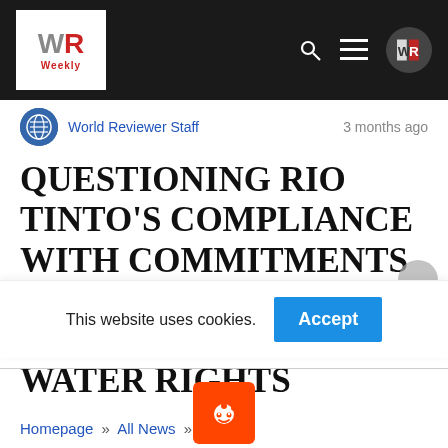WR Weekly
World Reviewer Staff   3 months ago
QUESTIONING RIO TINTO'S COMPLIANCE WITH COMMITMENTS RELATED TO PERIBONKA RIVER WATER RIGHTS
Homepage » All News » World
This website uses cookies.  Accept